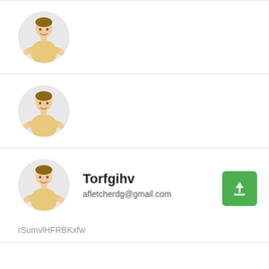[Figure (illustration): Circular avatar of a smiling man in a yellow shirt, first row, no name shown]
[Figure (illustration): Circular avatar of a smiling man in a yellow shirt, second row, no name shown]
[Figure (illustration): Circular avatar of a smiling man in a yellow shirt, third row, with name Torfgihv and email afletcherdg@gmail.com]
Torfgihv
afletcherdg@gmail.com
rSumvlHFRBKxfw